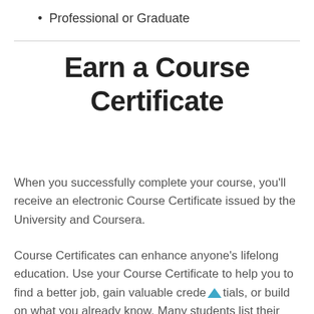Professional or Graduate
Earn a Course Certificate
When you successfully complete your course, you'll receive an electronic Course Certificate issued by the University and Coursera.
Course Certificates can enhance anyone's lifelong education. Use your Course Certificate to help you to find a better job, gain valuable credentials, or build on what you already know. Many students list their